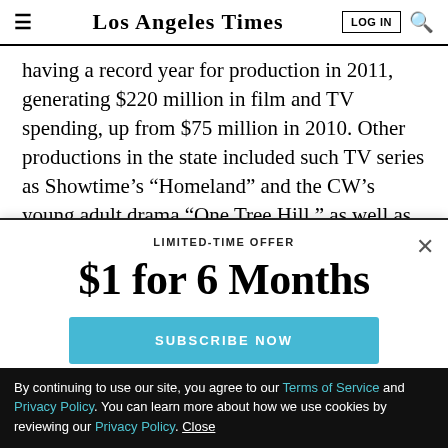Los Angeles Times
having a record year for production in 2011, generating $220 million in film and TV spending, up from $75 million in 2010. Other productions in the state included such TV series as Showtime’s “Homeland” and the CW’s young adult drama “One Tree Hill,” as well as
LIMITED-TIME OFFER
$1 for 6 Months
SUBSCRIBE NOW
By continuing to use our site, you agree to our Terms of Service and Privacy Policy. You can learn more about how we use cookies by reviewing our Privacy Policy. Close